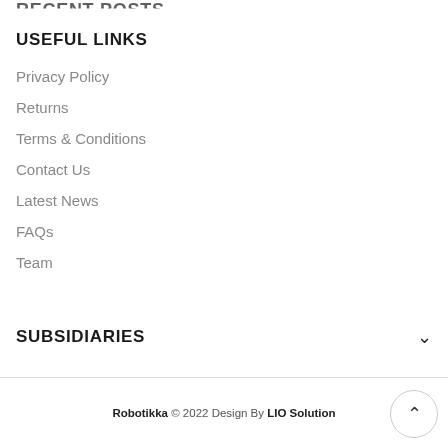RECENT POSTS
USEFUL LINKS
Privacy Policy
Returns
Terms & Conditions
Contact Us
Latest News
FAQs
Team
SUBSIDIARIES
Robotikka © 2022 Design By LIO Solution